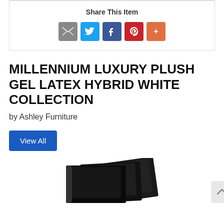Share This Item
[Figure (infographic): Social sharing icons: email (grey), Twitter (blue), Facebook (dark blue), Pinterest (red), More (orange-red)]
MILLENNIUM LUXURY PLUSH GEL LATEX HYBRID WHITE COLLECTION
by Ashley Furniture
[Figure (illustration): Blue 'View All' button]
[Figure (photo): Partial product image showing mattress or furniture pieces in black/dark color at the bottom of the page]